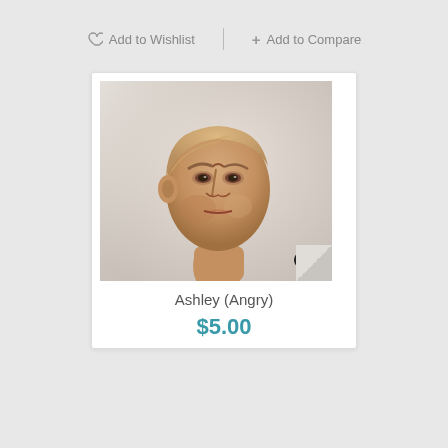Add to Wishlist
+ Add to Compare
[Figure (photo): A resin or clay miniature sculpted head of a man with an angry expression, with swept-back hair, shown against a light background. The head is on a neck/torso piece. Product photo for 'Ashley (Angry)'.]
Ashley (Angry)
$5.00